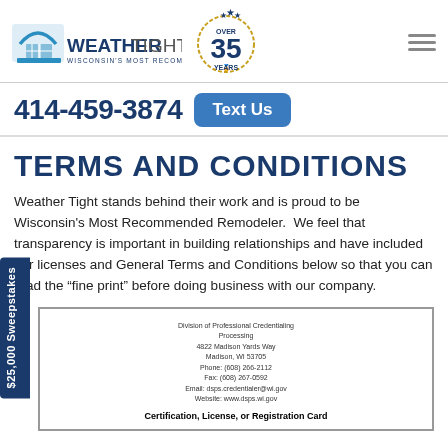[Figure (logo): WeatherTight logo with tagline 'Wisconsin's Most Recommended Remodeler', '35 Years' badge, and hamburger menu icon]
414-459-3874  Text Us
TERMS AND CONDITIONS
Weather Tight stands behind their work and is proud to be Wisconsin's Most Recommended Remodeler. We feel that transparency is important in building relationships and have included our licenses and General Terms and Conditions below so that you can read the “fine print” before doing business with our company.
[Figure (other): Certification, License, or Registration Card document from Division of Professional Credentialing, Madison WI]